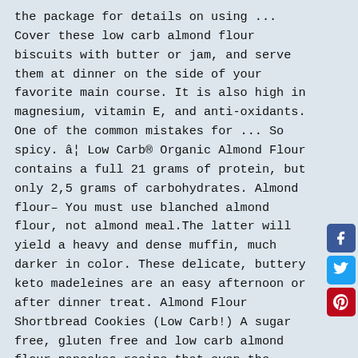the package for details on using ... Cover these low carb almond flour biscuits with butter or jam, and serve them at dinner on the side of your favorite main course. It is also high in magnesium, vitamin E, and anti-oxidants. One of the common mistakes for ... So spicy. â¦ Low Carb® Organic Almond Flour contains a full 21 grams of protein, but only 2,5 grams of carbohydrates. Almond flour– You must use blanched almond flour, not almond meal.The latter will yield a heavy and dense muffin, much darker in color. These delicate, buttery keto madeleines are an easy afternoon or after dinner treat. Almond Flour Shortbread Cookies (Low Carb!) A sugar free, gluten free and low carb almond flour pancakes recipe that even the pickiest of eaters will enjoy. Almond meal has proven to be a great low-carb option for multiple purposes, especially as a low-carb flour substitute. Keto Bread made with almond flour is the low-carb solution to your fluffy, delicious bread needs, proving low carb doesn't mean cutting out the bread completely! However